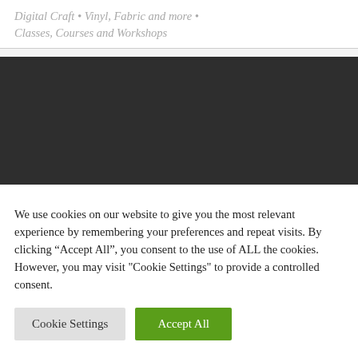Digital Craft • Vinyl, Fabric and more • Classes, Courses and Workshops
[Figure (other): Dark/black banner area, likely a navigation or hero image placeholder]
We use cookies on our website to give you the most relevant experience by remembering your preferences and repeat visits. By clicking “Accept All”, you consent to the use of ALL the cookies. However, you may visit "Cookie Settings" to provide a controlled consent.